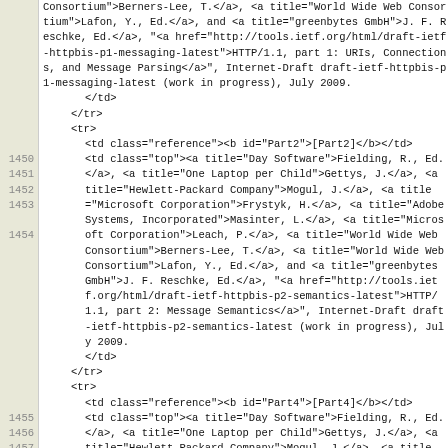Source code view showing HTML content with line numbers 1450-1459, displaying HTTP reference entries for Part2 and Part4 with links to IETF draft documents for HTTP/1.1 parts 1 and 2.